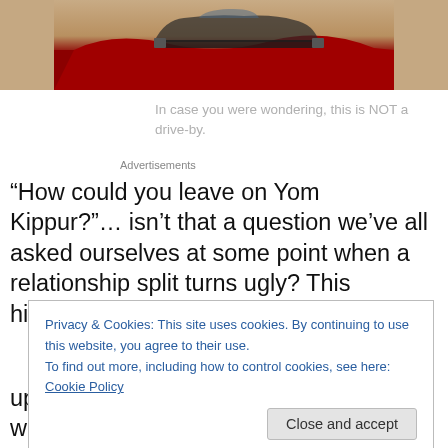[Figure (photo): Top portion of a photograph showing a vintage car, partially cropped, with a dark reddish background suggesting an album cover or similar artistic image.]
In case you were wondering, this is NOT a drive-by.
Advertisements
“How could you leave on Yom Kippur?”… isn’t that a question we’ve all asked ourselves at some point when a relationship split turns ugly? This hilarious and high-energy
Privacy & Cookies: This site uses cookies. By continuing to use this website, you agree to their use.
To find out more, including how to control cookies, see here: Cookie Policy
[Close and accept]
up-beat tunes like “Hey, Soul Sister” which seemed to be